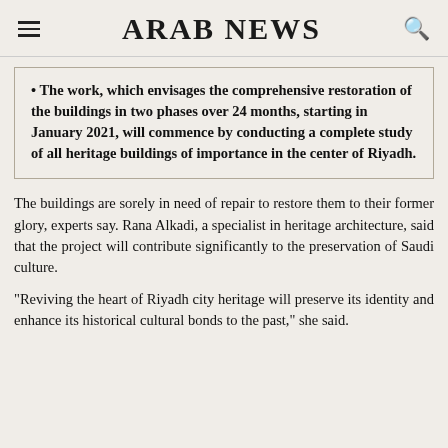ARAB NEWS
The work, which envisages the comprehensive restoration of the buildings in two phases over 24 months, starting in January 2021, will commence by conducting a complete study of all heritage buildings of importance in the center of Riyadh.
The buildings are sorely in need of repair to restore them to their former glory, experts say. Rana Alkadi, a specialist in heritage architecture, said that the project will contribute significantly to the preservation of Saudi culture.
“Reviving the heart of Riyadh city heritage will preserve its identity and enhance its historical cultural bonds to the past,” she said.